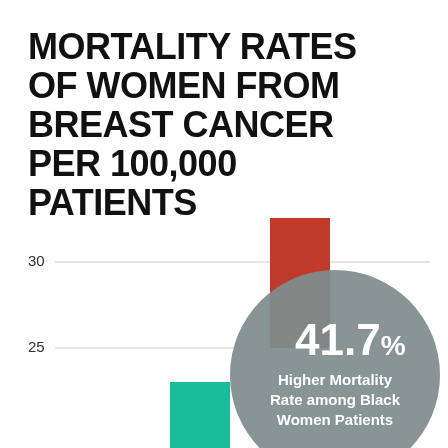MORTALITY RATES OF WOMEN FROM BREAST CANCER PER 100,000 PATIENTS
[Figure (bar-chart): Partial bar chart showing mortality rates with a callout circle indicating 41.7% Higher Mortality Rate among Black Women Patients. Y-axis shows values 25 and 30 visible. A red bar is visible above 30, and a teal/cyan bar is partially visible at the bottom.]